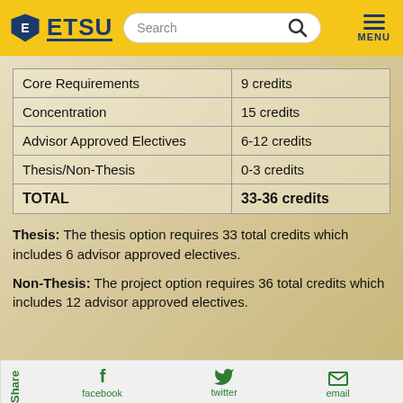ETSU
| Core Requirements | 9 credits |
| Concentration | 15 credits |
| Advisor Approved Electives | 6-12 credits |
| Thesis/Non-Thesis | 0-3 credits |
| TOTAL | 33-36 credits |
Thesis: The thesis option requires 33 total credits which includes 6 advisor approved electives.
Non-Thesis: The project option requires 36 total credits which includes 12 advisor approved electives.
Share  facebook  twitter  email